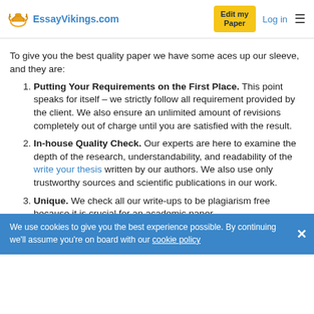EssayVikings.com | Edit my Paper | Log in
To give you the best quality paper we have some aces up our sleeve, and they are:
1. Putting Your Requirements on the First Place. This point speaks for itself – we strictly follow all requirement provided by the client. We also ensure an unlimited amount of revisions completely out of charge until you are satisfied with the result.
2. In-house Quality Check. Our experts are here to examine the depth of the research, understandability, and readability of the write your thesis written by our authors. We also use only trustworthy sources and scientific publications in our work.
We use cookies to give you the best experience possible. By continuing we'll assume you're on board with our cookie policy
3. Unique. We check all our write-ups to be plagiarism free because it is crucial for an academic paper.